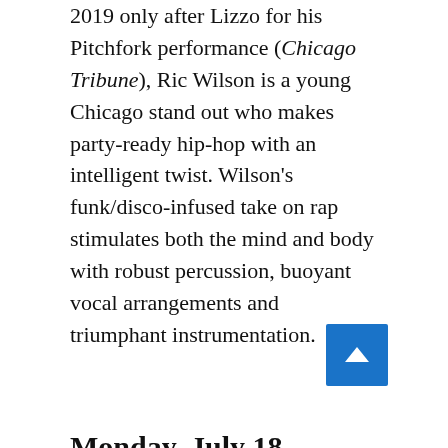2019 only after Lizzo for his Pitchfork performance (Chicago Tribune), Ric Wilson is a young Chicago stand out who makes party-ready hip-hop with an intelligent twist. Wilson's funk/disco-infused take on rap stimulates both the mind and body with robust percussion, buoyant vocal arrangements and triumphant instrumentation.
Monday, July 18, 6:30pm
DakhaBrakha – Global folk-fusion quartet from Kyiv, Ukraine that expands upon fundamental elements of sound and soul and combines them into a musical alchemy they call 'ethno-chaos.'
This concert is also supported by the Lloyd A. Fry Foundation.
Chicago Immigrant Orchestra – A 12-piece